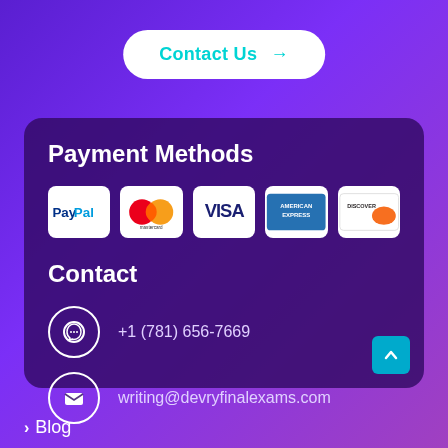Contact Us →
Payment Methods
[Figure (logo): Payment method logos: PayPal, Mastercard, Visa, American Express, Discover]
Contact
+1 (781) 656-7669
writing@devryfinalexams.com
> Blog